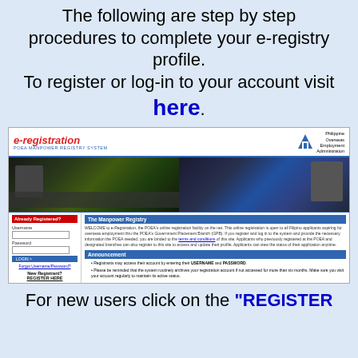The following are step by step procedures to complete your e-registry profile.
To register or log-in to your account visit here.
[Figure (screenshot): Screenshot of the POEA e-registration website (POEA Manpower Registry System) showing the login panel on the left with Already Registered username/password fields and login button, and The Manpower Registry welcome text on the right, plus an Announcement section below with two bullet points about registrant access and account archival.]
For new users click on the "REGISTER